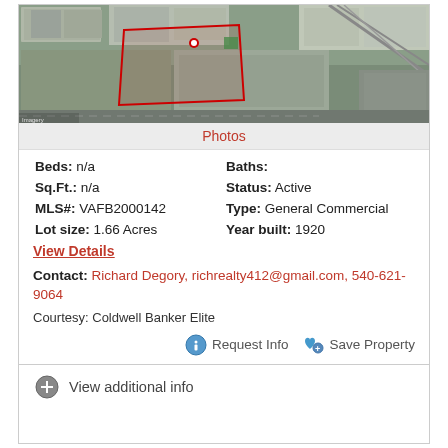[Figure (photo): Aerial satellite view of a commercial property with red boundary outline showing 1.66 acres, surrounded by buildings, roads, and railroad tracks.]
Photos
Beds: n/a    Baths:
Sq.Ft.: n/a    Status: Active
MLS#: VAFB2000142    Type: General Commercial
Lot size: 1.66 Acres    Year built: 1920
View Details
Contact: Richard Degory, richrealty412@gmail.com, 540-621-9064
Courtesy: Coldwell Banker Elite
Request Info    Save Property
View additional info